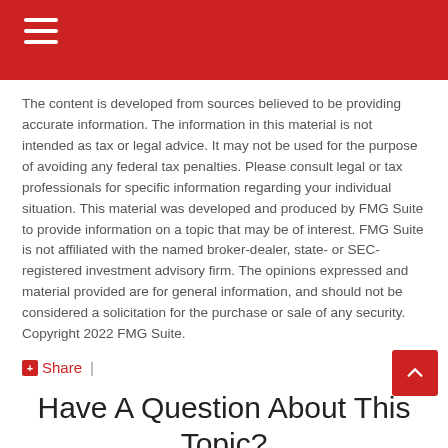Navigation menu header bar
The content is developed from sources believed to be providing accurate information. The information in this material is not intended as tax or legal advice. It may not be used for the purpose of avoiding any federal tax penalties. Please consult legal or tax professionals for specific information regarding your individual situation. This material was developed and produced by FMG Suite to provide information on a topic that may be of interest. FMG Suite is not affiliated with the named broker-dealer, state- or SEC-registered investment advisory firm. The opinions expressed and material provided are for general information, and should not be considered a solicitation for the purchase or sale of any security. Copyright 2022 FMG Suite.
Share |
Have A Question About This Topic?